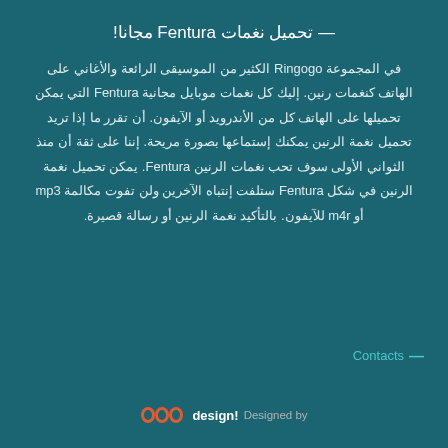— تحميل نغمات Fentura مجانا!
في المجموعة Ringogo الكثير من الموسيقى الرائعة والأغاني على الهاتف كنغمات رنين. إليك كل نغمات موبايل مجانية Fentura التي يمكن تحميلها على الهاتف كل من الأندرويد أو الآيفون. أن تقرر ما إذا تريد تحميل نغمة الرنين يمكنك إستماعها بصورة مريحة. إننا على ثقة أن منذ الثواني الأولى سوف تحب نغمات الرنين Fentura. يمكن تحميل نغمة الرنين في شكل Fentura ستلفت إنتباه الآخرين ولن تفوت مكالمة mp3 أو m4r للآيفون. بالتأكيد نغمة الرنين أو رسالة قصيرة.
Contacts —
meo design! Designed by